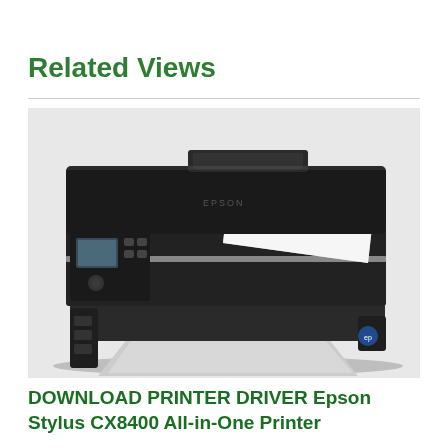Related Views
[Figure (photo): Photo of Epson Stylus CX8400 All-in-One Printer, a black inkjet all-in-one printer with flatbed scanner lid open showing a sheet of paper, with paper output tray extended at the front.]
DOWNLOAD PRINTER DRIVER Epson Stylus CX8400 All-in-One Printer